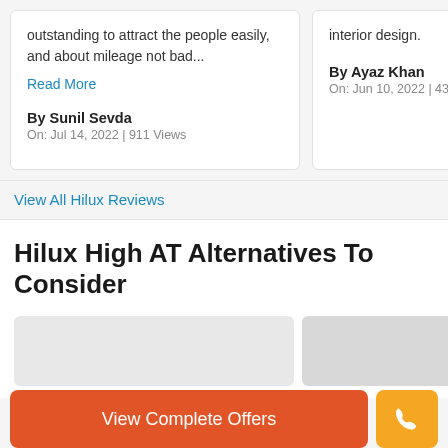outstanding to attract the people easily, and about mileage not bad...
Read More
By Sunil Sevda
On: Jul 14, 2022 | 911 Views
interior design.
By Ayaz Khan
On: Jun 10, 2022 | 43
View All Hilux Reviews
Hilux High AT Alternatives To Consider
[Figure (other): Placeholder image cards for alternative vehicle listings]
View Complete Offers